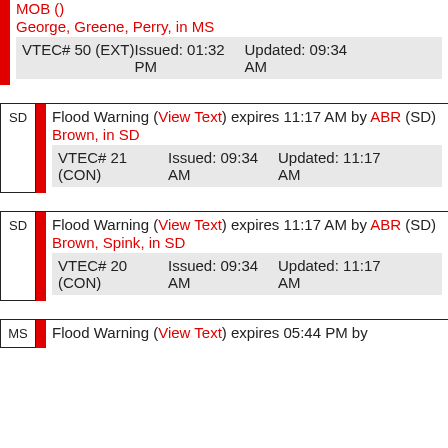MOB () George, Greene, Perry, in MS VTEC# 50 (EXT) Issued: 01:32 PM Updated: 09:34 AM
SD Flood Warning (View Text) expires 11:17 AM by ABR (SD) Brown, in SD VTEC# 21 (CON) Issued: 09:34 AM Updated: 11:17 AM
SD Flood Warning (View Text) expires 11:17 AM by ABR (SD) Brown, Spink, in SD VTEC# 20 (CON) Issued: 09:34 AM Updated: 11:17 AM
MS Flood Warning (View Text) expires 05:44 PM by